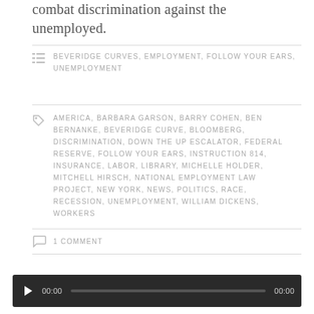combat discrimination against the unemployed.
BEVERIDGE CURVES, EMPLOYMENT, FOLLOW YOUR EARS, UNEMPLOYMENT
AMERICA, BARBARA GARSON, BARRY COHEN, BEN BERNANKE, BEVERIDGE CURVE, BLOOMBERG, DISCRIMINATION, DOWN THE UP ESCALATOR, FEDERAL RESERVE, FOLLOW YOUR EARS, INSTRUCTION 814, INSURANCE, LABOR, LIBRARY, MICHELLE HOLDER, MITCHELL HIRSCH, NATIONAL EMPLOYMENT LAW PROJECT, NEW YORK, NEWS, POLITICS, RACE, RECESSION, UNEMPLOYMENT, WILLIAM DICKENS, WORKERS
1 COMMENT
[Figure (other): Audio player with play button, timestamp 00:00, progress bar, and end time 00:00]